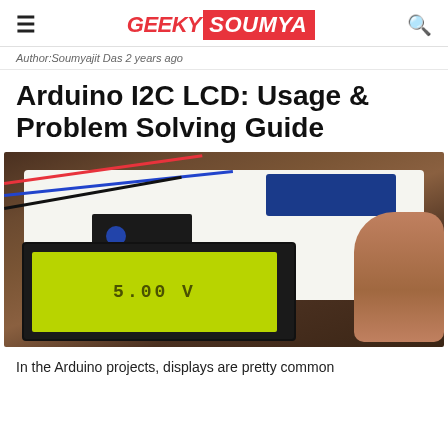GEEKY SOUMYA
Author:Soumyajit Das 2 years ago
Arduino I2C LCD: Usage & Problem Solving Guide
[Figure (photo): Photo of an Arduino breadboard setup with an I2C LCD module displaying '5.00 V', an Arduino Nano, and wires. A hand is visible on the right side holding the breadboard.]
In the Arduino projects, displays are pretty common